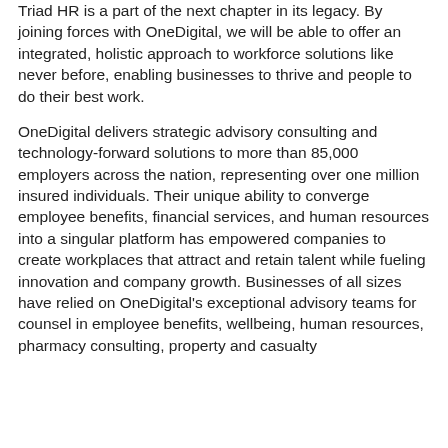Triad HR is a part of the next chapter in its legacy. By joining forces with OneDigital, we will be able to offer an integrated, holistic approach to workforce solutions like never before, enabling businesses to thrive and people to do their best work.
OneDigital delivers strategic advisory consulting and technology-forward solutions to more than 85,000 employers across the nation, representing over one million insured individuals. Their unique ability to converge employee benefits, financial services, and human resources into a singular platform has empowered companies to create workplaces that attract and retain talent while fueling innovation and company growth. Businesses of all sizes have relied on OneDigital's exceptional advisory teams for counsel in employee benefits, wellbeing, human resources, pharmacy consulting, property and casualty